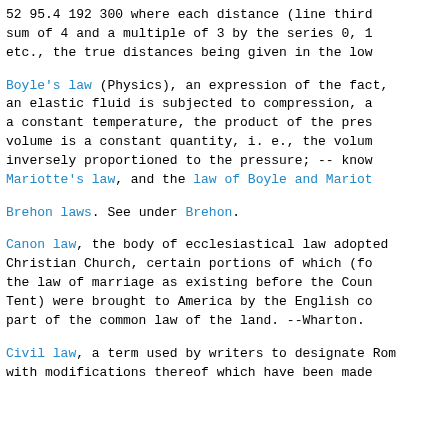52 95.4 192 300 where each distance (line third sum of 4 and a multiple of 3 by the series 0, 1 etc., the true distances being given in the low
Boyle's law (Physics), an expression of the fact, an elastic fluid is subjected to compression, a a constant temperature, the product of the pres volume is a constant quantity, i. e., the volum inversely proportioned to the pressure; -- know Mariotte's law, and the law of Boyle and Mariot
Brehon laws. See under Brehon.
Canon law, the body of ecclesiastical law adopted Christian Church, certain portions of which (fo the law of marriage as existing before the Coun Tent) were brought to America by the English co part of the common law of the land. --Wharton.
Civil law, a term used by writers to designate Rom with modifications thereof which have been made